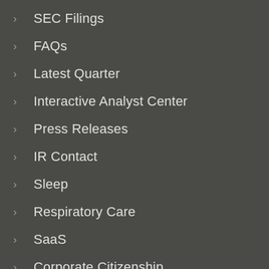SEC Filings
FAQs
Latest Quarter
Interactive Analyst Center
Press Releases
IR Contact
Sleep
Respiratory Care
SaaS
Corporate Citizenship